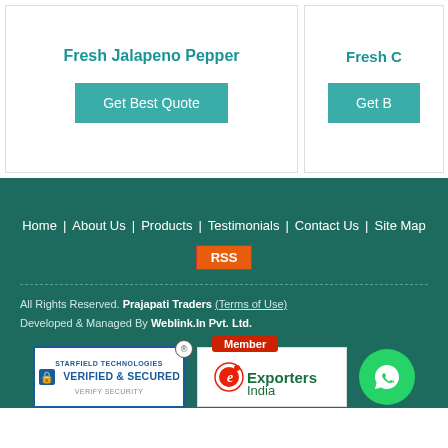Fresh Jalapeno Pepper
Get Best Quote
Fresh C...
Get B...
Home | About Us | Products | Testimonials | Contact Us | Site Map
RSS
All Rights Reserved. Prajapati Traders (Terms of Use)
Developed & Managed By Weblink.In Pvt. Ltd.
[Figure (logo): Starfield Technologies Verified & Secured badge with registered mark]
[Figure (logo): ExportersIndia Member badge]
[Figure (logo): WhatsApp green circle icon]